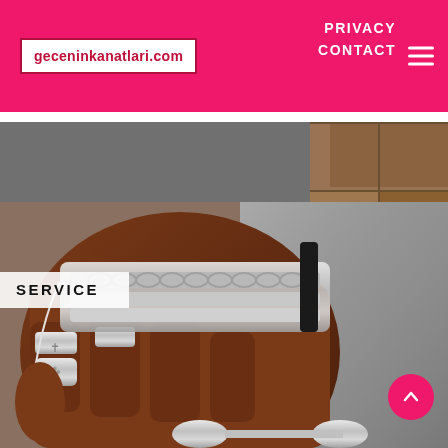geceninkanatlari.com | PRIVACY | CONTACT
[Figure (photo): A hand wearing multiple silver rings and layered silver chain bracelets, displayed against a grey fabric and tiled background. The jewelry includes ornate cross rings and heavy link chains.]
SERVICE